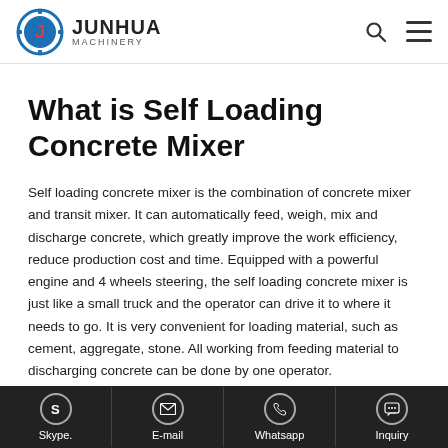JUNHUA MACHINERY — navigation header with logo, search icon, and menu icon
What is Self Loading Concrete Mixer
Self loading concrete mixer is the combination of concrete mixer and transit mixer. It can automatically feed, weigh, mix and discharge concrete, which greatly improve the work efficiency, reduce production cost and time. Equipped with a powerful engine and 4 wheels steering, the self loading concrete mixer is just like a small truck and the operator can drive it to where it needs to go. It is very convenient for loading material, such as cement, aggregate, stone. All working from feeding material to discharging concrete can be done by one operator.
Features:
Skype. | E-mail | Whatsapp | Inquiry